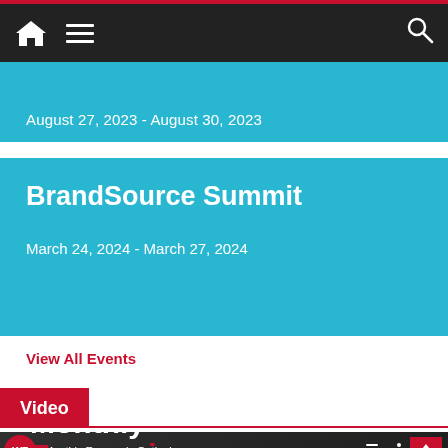Navigation bar with home, menu, and search icons
August 27, 2023 - August 30, 2023
BrandSource Summit
March 24, 2024 - March 27, 2024
View All Events
Video
[Figure (screenshot): Video thumbnail showing 'Monthly Economic Outlook' with WF logo, video controls, and partial text reading 'Monthly Economic']